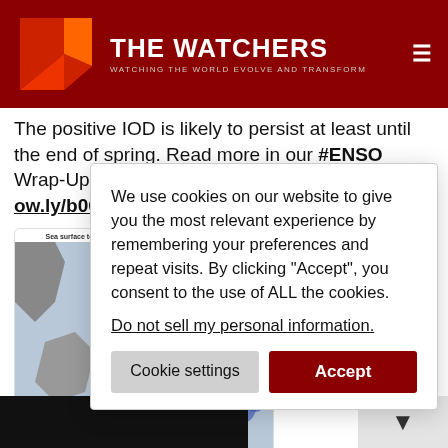THE WATCHERS — WATCHING THE WORLD EVOLVE AND TRANSFORM
The positive IOD is likely to persist at least until the end of spring. Read more in our #ENSO Wrap-Up: ow.ly/b06M50wxR90
[Figure (map): Sea surface temperature anomaly map: 23/09/2019 to 29/09/2019, showing warm anomalies (red/orange) in the western Indian Ocean and cool anomalies (blue) in the east.]
Sea surface temperature anomaly: 23/09/2019 to 29/09/2019
6:11 AM · Oct 1
We use cookies on our website to give you the most relevant experience by remembering your preferences and repeat visits. By clicking "Accept", you consent to the use of ALL the cookies.
Do not sell my personal information.